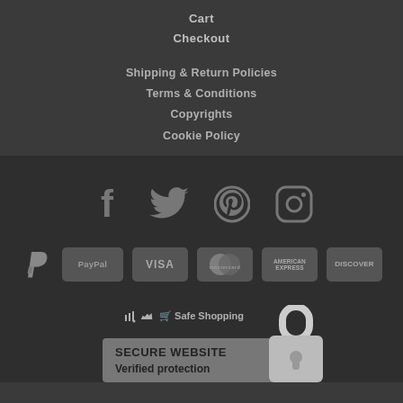Cart
Checkout
Shipping & Return Policies
Terms & Conditions
Copyrights
Cookie Policy
[Figure (infographic): Social media icons: Facebook, Twitter, Pinterest, Instagram]
[Figure (infographic): Payment method icons: PayPal (logo), PayPal (badge), VISA, Mastercard, American Express, Discover]
[Figure (infographic): Safe Shopping secure website badge with padlock icon showing SECURE WEBSITE and Verified protection]